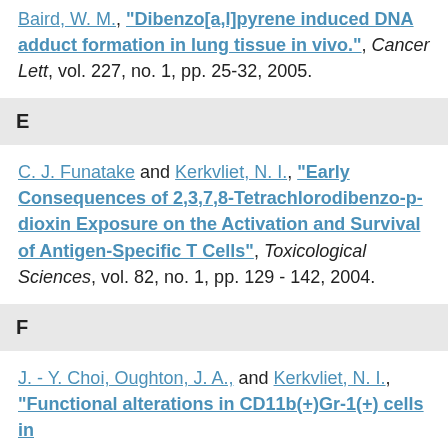Baird, W. M., "Dibenzo[a,l]pyrene induced DNA adduct formation in lung tissue in vivo.", Cancer Lett, vol. 227, no. 1, pp. 25-32, 2005.
E
C. J. Funatake and Kerkvliet, N. I., "Early Consequences of 2,3,7,8-Tetrachlorodibenzo-p-dioxin Exposure on the Activation and Survival of Antigen-Specific T Cells", Toxicological Sciences, vol. 82, no. 1, pp. 129 - 142, 2004.
F
J. - Y. Choi, Oughton, J. A., and Kerkvliet, N. I., "Functional alterations in CD11b(+)Gr-1(+) cells in